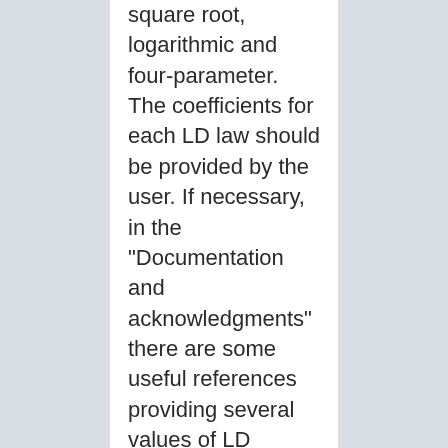square root, logarithmic and four-parameter. The coefficients for each LD law should be provided by the user. If necessary, in the "Documentation and acknowledgments" there are some useful references providing several values of LD coefficients for different LD laws, stellar types, and spectral domains. The analytical forms of the LD laws are